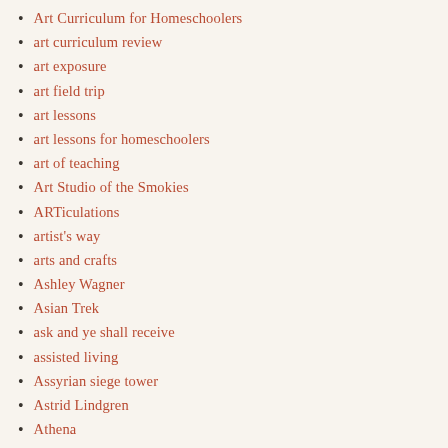Art Curriculum for Homeschoolers
art curriculum review
art exposure
art field trip
art lessons
art lessons for homeschoolers
art of teaching
Art Studio of the Smokies
ARTiculations
artist's way
arts and crafts
Ashley Wagner
Asian Trek
ask and ye shall receive
assisted living
Assyrian siege tower
Astrid Lindgren
Athena